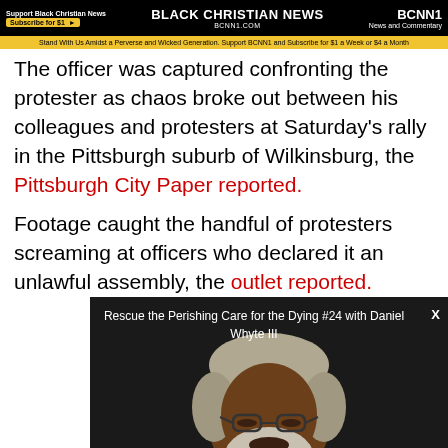Support Black Christian News | BLACK CHRISTIAN NEWS BCNN1.COM | BCNN1 News and Commentary
Stand With Us Amidst a Perverse and Wicked Generation. Support BCNN1 and Subscribe for $1 a Week or $4 a Month
The officer was captured confronting the protester as chaos broke out between his colleagues and protesters at Saturday's rally in the Pittsburgh suburb of Wilkinsburg, the Pittsburgh City Paper reported.
Footage caught the handful of protesters screaming at officers who declared it an unlawful assembly, the outlet reported.
[Figure (screenshot): Video overlay showing 'Rescue the Perishing Care for the Dying #24 with Daniel Whyte III' with a man with grey hair and beard looking down, wearing glasses, with a red bar at the bottom]